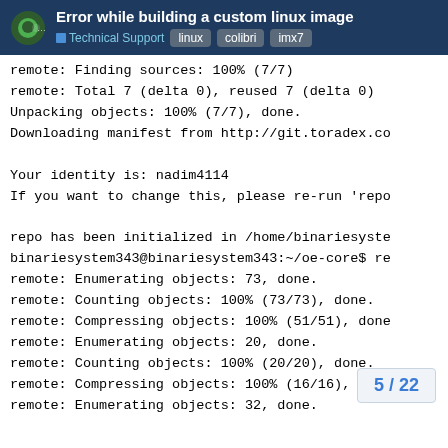Error while building a custom linux image
remote: Finding sources: 100% (7/7)
remote: Total 7 (delta 0), reused 7 (delta 0)
Unpacking objects: 100% (7/7), done.
Downloading manifest from http://git.toradex.co

Your identity is: nadim4114
If you want to change this, please re-run 'repo

repo has been initialized in /home/binariesyste
binariesystem343@binariesystem343:~/oe-core$ re
remote: Enumerating objects: 73, done.
remote: Counting objects: 100% (73/73), done.
remote: Compressing objects: 100% (51/51), done
remote: Enumerating objects: 20, done.
remote: Counting objects: 100% (20/20), done.
remote: Compressing objects: 100% (16/16), done
remote: Enumerating objects: 32, done.
remote: Counting objects: 100%
remote: Compressing objects: 1(
5 / 22